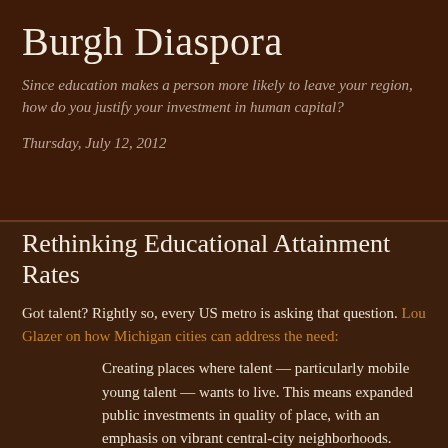Burgh Diaspora
Since education makes a person more likely to leave your region, how do you justify your investment in human capital?
Thursday, July 12, 2012
Rethinking Educational Attainment Rates
Got talent? Rightly so, every US metro is asking that question. Lou Glazer on how Michigan cities can address the need:
Creating places where talent — particularly mobile young talent — wants to live. This means expanded public investments in quality of place, with an emphasis on vibrant central-city neighborhoods. Young talent is increasingly